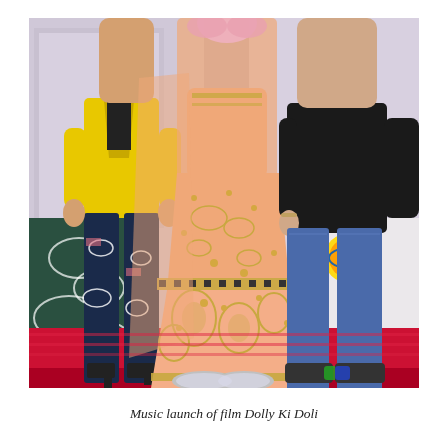[Figure (photo): Three people standing at what appears to be a film music launch event. The central figure is a woman wearing a peach/salmon colored embroidered lehenga with gold embellishments. On the left is a person in a yellow jacket and patterned pants. On the right is a man in a black t-shirt and blue jeans. A decorative backdrop is visible behind them, and the floor is red carpet.]
Music launch of film Dolly Ki Doli